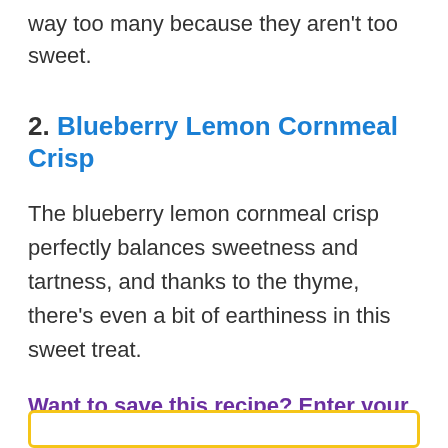way too many because they aren't too sweet.
2. Blueberry Lemon Cornmeal Crisp
The blueberry lemon cornmeal crisp perfectly balances sweetness and tartness, and thanks to the thyme, there's even a bit of earthiness in this sweet treat.
Want to save this recipe? Enter your email below and we'll send the recipe straight to your inbox!